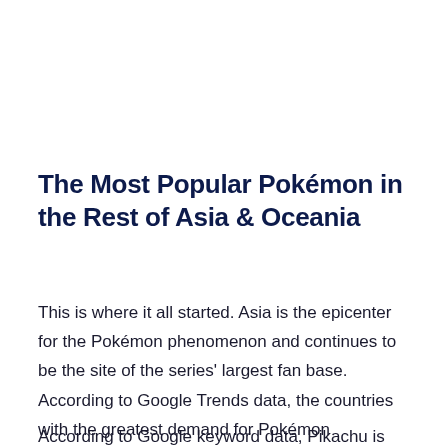The Most Popular Pokémon in the Rest of Asia & Oceania
This is where it all started. Asia is the epicenter for the Pokémon phenomenon and continues to be the site of the series' largest fan base. According to Google Trends data, the countries with the greatest demand for Pokémon worldwide are Japan, South Korea, Taiwan, and Nepal.
According to Google keyword data, Pikachu is the most